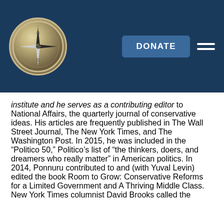[Figure (logo): Compass logo on dark blue navigation bar with DONATE button and hamburger menu]
institute and he serves as a contributing editor to National Affairs, the quarterly journal of conservative ideas. His articles are frequently published in The Wall Street Journal, The New York Times, and The Washington Post. In 2015, he was included in the “Politico 50,” Politico’s list of “the thinkers, doers, and dreamers who really matter” in American politics. In 2014, Ponnuru contributed to and (with Yuval Levin) edited the book Room to Grow: Conservative Reforms for a Limited Government and A Thriving Middle Class. New York Times columnist David Brooks called the